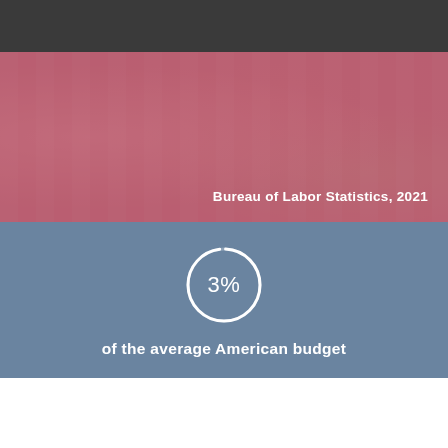[Figure (photo): Background photo of clothing items hanging on a rack, with a pinkish-red color overlay. Source credit reads: Bureau of Labor Statistics, 2021]
[Figure (donut-chart): 3% of the average American budget]
Share